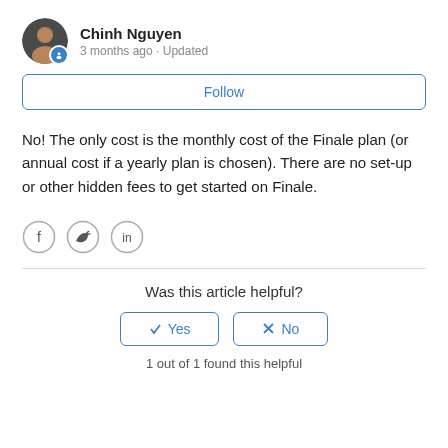[Figure (photo): Round avatar photo of Chinh Nguyen with a blue badge icon below-right]
Chinh Nguyen
3 months ago · Updated
Follow
No! The only cost is the monthly cost of the Finale plan (or annual cost if a yearly plan is chosen). There are no set-up or other hidden fees to get started on Finale.
[Figure (illustration): Social share icons: Facebook (f), Twitter (bird), LinkedIn (in)]
Was this article helpful?
✓  Yes
✗  No
1 out of 1 found this helpful